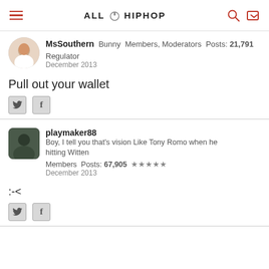ALL HIP HOP
MsSouthern  Bunny  Members, Moderators  Posts: 21,791  Regulator  December 2013
Pull out your wallet
playmaker88  Boy, I tell you that's vision Like Tony Romo when he hitting Witten  Members  Posts: 67,905  December 2013
;-<